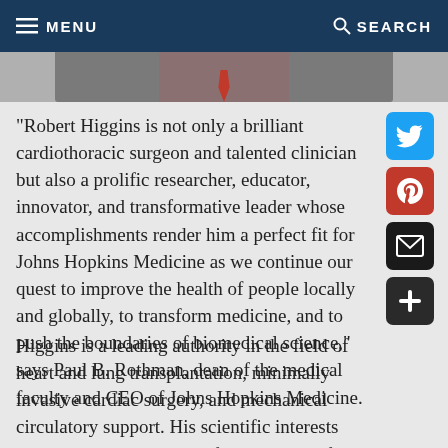MENU   SEARCH
[Figure (photo): Cropped photo of a person in a suit with a red tie, partially visible at the top of the page]
"Robert Higgins is not only a brilliant cardiothoracic surgeon and talented clinician but also a prolific researcher, educator, innovator, and transformative leader whose accomplishments render him a perfect fit for Johns Hopkins Medicine as we continue our quest to improve the health of people locally and globally, to transform medicine, and to push the boundaries of biomedical science," says Paul B. Rothman, dean of the medical faculty and CEO of Johns Hopkins Medicine.
Higgins is a leading authority in the field of heart and lung transplantation, minimally invasive cardiac surgery, and mechanical circulatory support. His scientific interests include the mechanisms of cell injury in failing hearts, health economics and policy,